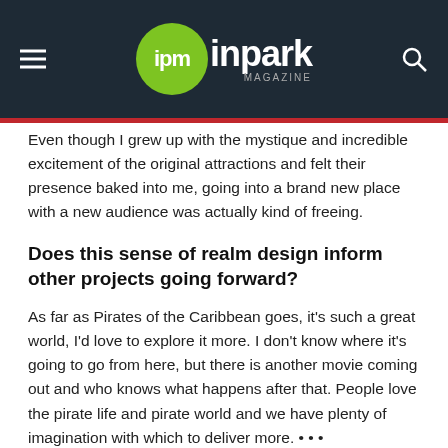ipm inpark MAGAZINE
Even though I grew up with the mystique and incredible excitement of the original attractions and felt their presence baked into me, going into a brand new place with a new audience was actually kind of freeing.
Does this sense of realm design inform other projects going forward?
As far as Pirates of the Caribbean goes, it's such a great world, I'd love to explore it more. I don't know where it's going to go from here, but there is another movie coming out and who knows what happens after that. People love the pirate life and pirate world and we have plenty of imagination with which to deliver more. • • •
Diving deeper into the story